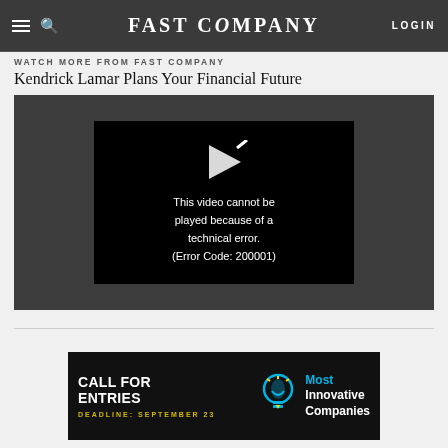Fast Company — navigation bar with hamburger menu, search, logo, and login
WATCH MORE FROM FAST COMPANY
Kendrick Lamar Plans Your Financial Future
[Figure (screenshot): Video player showing error message: 'This video cannot be played because of a technical error. (Error Code: 200001)']
[Figure (infographic): Advertisement banner: CALL FOR ENTRIES — DEADLINE: SEPTEMBER 23 — Most Innovative Companies, with light bulb icon]